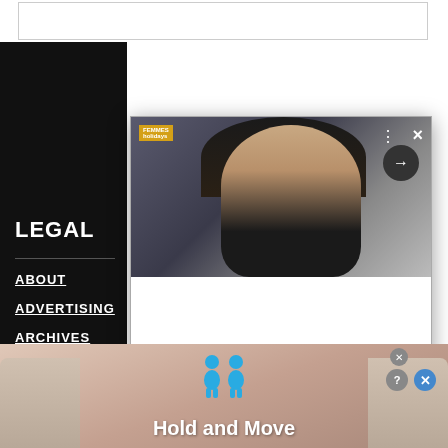[Figure (screenshot): Website screenshot showing a navigation sidebar with LEGAL header and menu links (ABOUT, ADVERTISING, ARCHIVES, CONTACT) on a black background, overlaid with a modal popup showing a photo of a woman and white content area below, plus an advertisement banner at bottom reading 'Hold and Move' with blue figure icons]
LEGAL
ABOUT
ADVERTISING
ARCHIVES
CONTACT
Hold and Move